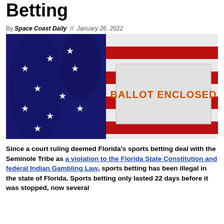Betting
By Space Coast Daily // January 26, 2022
[Figure (photo): An American flag with a white envelope stamped 'BALLOT ENCLOSED' in orange lettering resting on top of it.]
Since a court ruling deemed Florida's sports betting deal with the Seminole Tribe as a violation to the Florida State Constitution and federal Indian Gambling Law, sports betting has been illegal in the state of Florida. Sports betting only lasted 22 days before it was stopped, now several